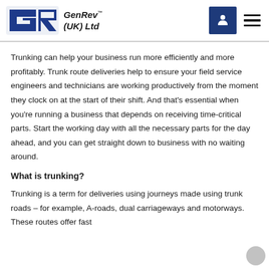[Figure (logo): GenRev (UK) Ltd logo with stylized GR letters in blue, company name in bold italic, map icon box and hamburger menu icon in header]
Trunking can help your business run more efficiently and more profitably. Trunk route deliveries help to ensure your field service engineers and technicians are working productively from the moment they clock on at the start of their shift. And that’s essential when you’re running a business that depends on receiving time-critical parts. Start the working day with all the necessary parts for the day ahead, and you can get straight down to business with no waiting around.
What is trunking?
Trunking is a term for deliveries using journeys made using trunk roads – for example, A-roads, dual carriageways and motorways. These routes offer fast